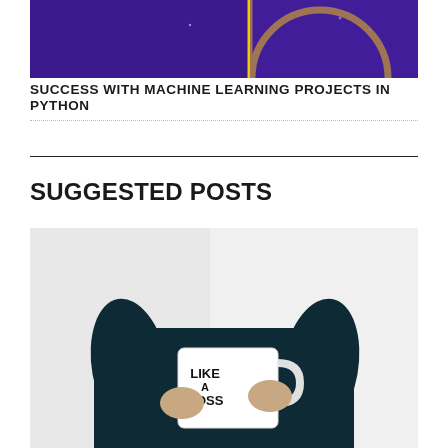[Figure (illustration): Dark purple/violet background with a yellow circular arc and a vertical line, partial view of a machine learning themed graphic]
SUCCESS WITH MACHINE LEARNING PROJECTS IN PYTHON
[Figure (photo): Person wearing a dark sweater holding a white mug that reads 'LIKE A BOSS', photographed from chest down against a white background]
SUGGESTED POSTS